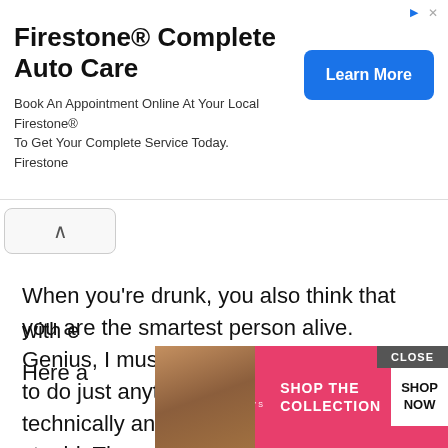[Figure (infographic): Firestone Complete Auto Care advertisement banner with blue Learn More button and ad icons]
[Figure (infographic): Collapse/minimize button with upward chevron arrow]
When you're drunk, you also think that you are the smartest person alive. Genius, I must say! You are bold enough to do just anything you think is witty. But technically and in reality it's silly and stupid. Those are probably one of the worst ideas you can ever think of when you are drunk. You should be so lucky, that you don't get yourself into huge trouble with e...
Here a...
[Figure (infographic): Victoria's Secret Shop the Collection advertisement banner at bottom with model photo, CLOSE button, and SHOP NOW button]